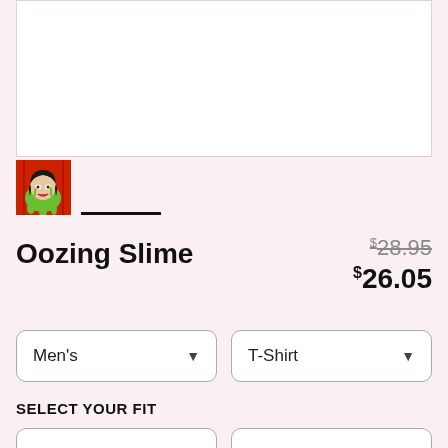[Figure (photo): White product image display area showing a t-shirt mockup (mostly white/blank area)]
[Figure (illustration): Thumbnail image: a comic-style illustration of a woman's face with green slime dripping, on a red background with black outlines]
Oozing Slime
$28.95 (strikethrough original price) $26.05 (sale price)
Men's (dropdown)
T-Shirt (dropdown)
SELECT YOUR FIT